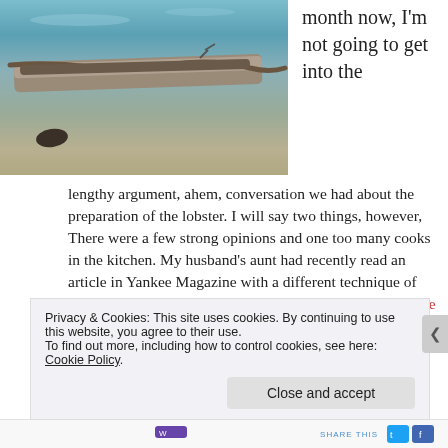[Figure (photo): Photo of a wooden dock or boat rope/plank over water, viewed close up]
month now, I'm not going to get into the lengthy argument, ahem, conversation we had about the preparation of the lobster. I will say two things, however, There were a few strong opinions and one too many cooks in the kitchen. My husband's aunt had recently read an article in Yankee Magazine with a different technique of cooking lobster. They advocated steaming them in a couple inches of very salty water instead of boiling them. The recipe came from Bertha Nunan, owner of the Nunan's
Privacy & Cookies: This site uses cookies. By continuing to use this website, you agree to their use.
To find out more, including how to control cookies, see here: Cookie Policy